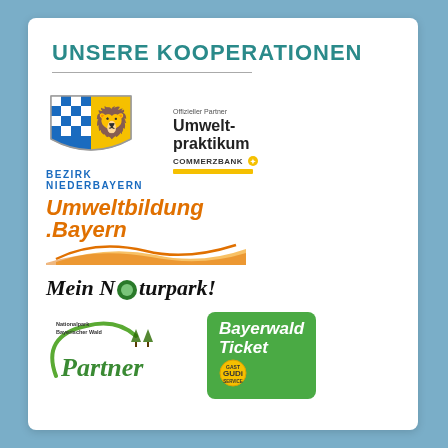UNSERE KOOPERATIONEN
[Figure (logo): Bezirk Niederbayern coat of arms logo with blue and white diamond pattern and red lion, text BEZIRK NIEDERBAYERN]
[Figure (logo): Commerzbank Umweltpraktikum logo: Offizieller Partner, Umwelt-praktikum, COMMERZBANK with yellow bar]
[Figure (logo): Umweltbildung.Bayern logo with orange swoosh wave]
[Figure (logo): Mein Naturpark! logo in handwritten style]
[Figure (logo): Nationalpark Bayerischer Wald Partner logo with green swoosh and tree icons]
[Figure (logo): Bayerwald Ticket GUDi logo on green rounded rectangle background]